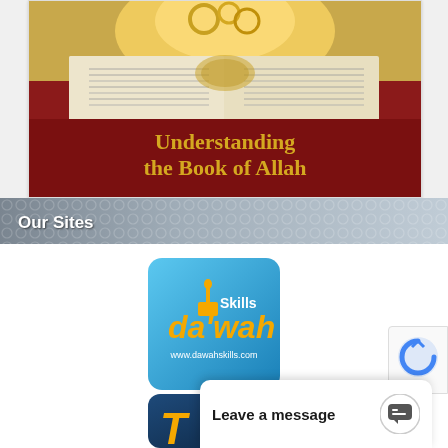[Figure (illustration): Book cover for 'Understanding the Book of Allah' — dark red and gold design with Arabic calligraphy text at top, open Quran pages in center, gold decorative ring motif, with gold title text on dark red background at bottom.]
Our Sites
[Figure (logo): Dawah Skills logo — blue rounded square tile with white 'Skills' text, orange italic 'da'wah' text, small mosque/minaret icon, and white URL text 'www.dawahskills.com']
[Figure (logo): Partially visible dark blue rounded tile showing orange italic letter 'T' at bottom]
Leave a message